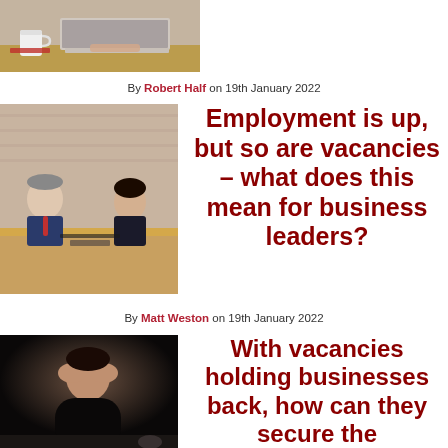[Figure (photo): Person at laptop with coffee mug on desk, cropped top portion]
By Robert Half on 19th January 2022
[Figure (photo): Business meeting scene with two people at a conference table]
Employment is up, but so are vacancies – what does this mean for business leaders?
By Matt Weston on 19th January 2022
[Figure (photo): Person with head in hands, stressed, dark background]
With vacancies holding businesses back, how can they secure the